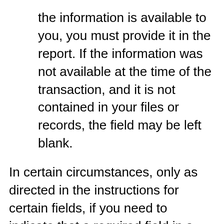the information is available to you, you must provide it in the report. If the information was not available at the time of the transaction, and it is not contained in your files or records, the field may be left blank.
In certain circumstances, only as directed in the instructions for certain fields, if you need to indicate that a required field in a report is not applicable, enter "N/A" or "n/a". Do not substitute any other abbreviations, special characters (e.g., "x", "-" or "*") or words (e.g., unknown).